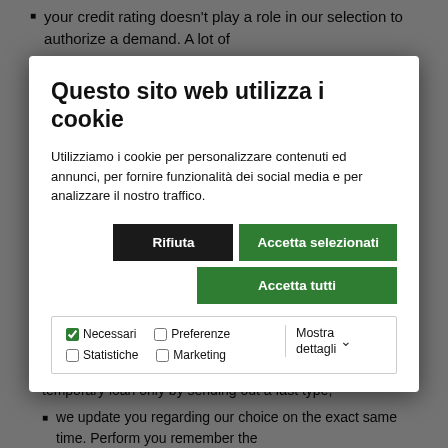your credit rating doesn't play a role in our selection to authorize a demand. A lot of
[Figure (screenshot): Cookie consent modal dialog overlay on a webpage. Modal title: 'Questo sito web utilizza i cookie'. Body text about cookie usage in Italian. Buttons: 'Rifiuta' (black), 'Accetta selezionati' (green), 'Accetta tutti' (green). Checkbox row with Necessari (checked), Preferenze, Statistiche, Marketing, and 'Mostra dettagli' dropdown.]
certainly there for the entire time just to pass all the accepting treatments. We simplified the system and now all Suitland individuals that end 18 can obtain a temporary loan only by sending out a fast type;
we update you regarding our choice on the exact same time. Perform you remember the